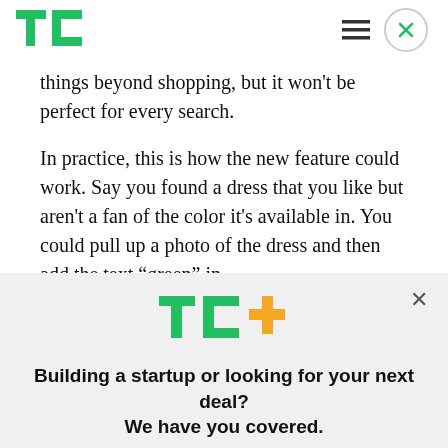TechCrunch logo, hamburger menu, close button
things beyond shopping, but it won't be perfect for every search.
In practice, this is how the new feature could work. Say you found a dress that you like but aren't a fan of the color it's available in. You could pull up a photo of the dress and then add the text “green” in
[Figure (logo): TC+ logo — TechCrunch green TC letters with orange plus sign]
Building a startup or looking for your next deal? We have you covered.
EXPLORE NOW